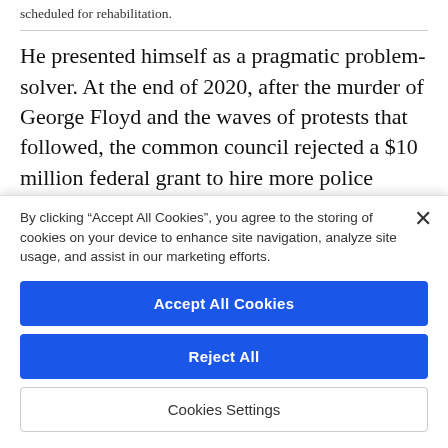scheduled for rehabilitation.
He presented himself as a pragmatic problem-solver. At the end of 2020, after the murder of George Floyd and the waves of protests that followed, the common council rejected a $10 million federal grant to hire more police officers. “That was not without controversy or
By clicking “Accept All Cookies”, you agree to the storing of cookies on your device to enhance site navigation, analyze site usage, and assist in our marketing efforts.
Accept All Cookies
Reject All
Cookies Settings